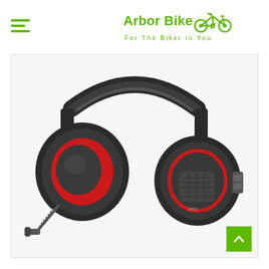Arbor Bikes — For The Biker In You
[Figure (photo): Black and red gaming headset with over-ear cushions, red accent ring on ear cups, mesh grille panel on right ear cup with ROG logo, and a flexible boom microphone extending from the left ear cup. Product shown on white/light grey background.]